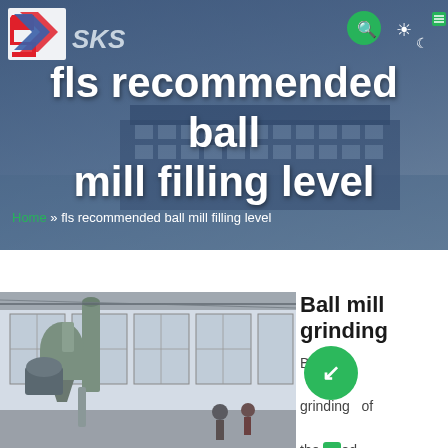[Figure (screenshot): SKS website header banner with dark blue overlay over a building/industrial facility background]
fls recommended ball mill filling level
Home » fls recommended ball mill filling level
[Figure (photo): Industrial ball mill grinding equipment in a factory building with cyclone dust collector and piping]
Ball mill grinding
Ball mill grinding of the [obscured] ed by material